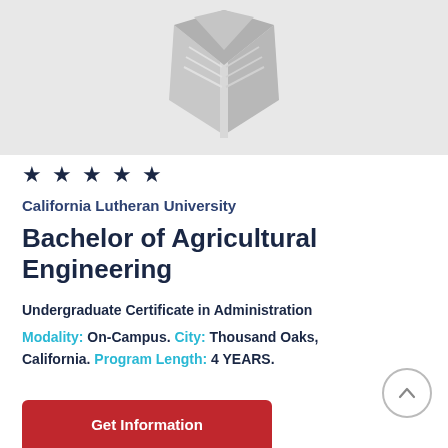[Figure (logo): Stylized open book/graduation cap logo in light gray on gray background]
★ ★ ★ ★ ★
California Lutheran University
Bachelor of Agricultural Engineering
Undergraduate Certificate in Administration
Modality: On-Campus. City: Thousand Oaks, California. Program Length: 4 YEARS.
[Figure (other): Scroll-to-top circular arrow button]
Get Information